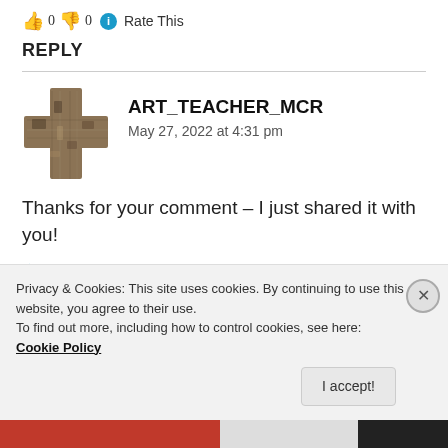👍 0 👎 0 ℹ Rate This
REPLY
[Figure (photo): Cross-shaped avatar made of stone/wood texture for user ART_TEACHER_MCR]
ART_TEACHER_MCR
May 27, 2022 at 4:31 pm
Thanks for your comment – I just shared it with you!
★ Like
Privacy & Cookies: This site uses cookies. By continuing to use this website, you agree to their use.
To find out more, including how to control cookies, see here: Cookie Policy
I accept!